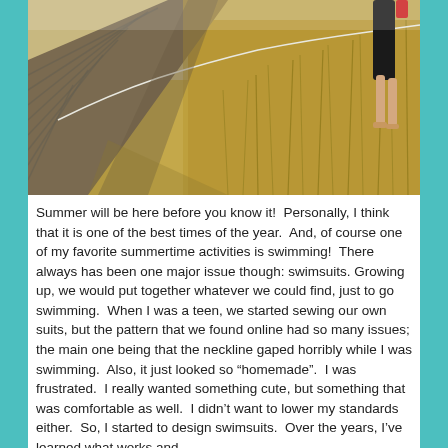[Figure (photo): Outdoor beach boardwalk photo showing a wooden plank walkway with dry golden grass/reeds on one side and sand. A person's legs are visible in the upper right corner walking along the path. Bright sunlight, shadows cast on wooden boards.]
Summer will be here before you know it!  Personally, I think that it is one of the best times of the year.  And, of course one of my favorite summertime activities is swimming!  There always has been one major issue though: swimsuits.  Growing up, we would put together whatever we could find, just to go swimming.  When I was a teen, we started sewing our own suits, but the pattern that we found online had so many issues; the main one being that the neckline gaped horribly while I was swimming.  Also, it just looked so “homemade”.  I was frustrated.  I really wanted something cute, but something that was comfortable as well.  I didn’t want to lower my standards either.  So, I started to design swimsuits.  Over the years, I’ve learned what works and